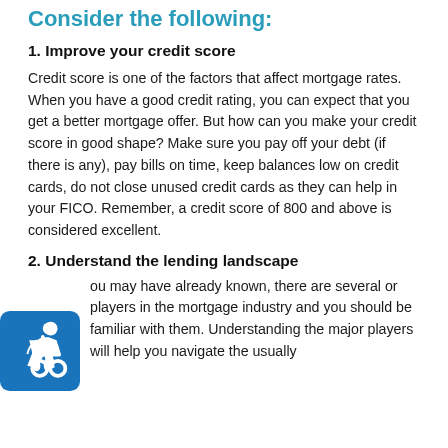Consider the following:
1. Improve your credit score
Credit score is one of the factors that affect mortgage rates. When you have a good credit rating, you can expect that you get a better mortgage offer. But how can you make your credit score in good shape? Make sure you pay off your debt (if there is any), pay bills on time, keep balances low on credit cards, do not close unused credit cards as they can help in your FICO. Remember, a credit score of 800 and above is considered excellent.
2. Understand the lending landscape
As you may have already known, there are several major players in the mortgage industry and you should be familiar with them. Understanding the major players will help you navigate the usually